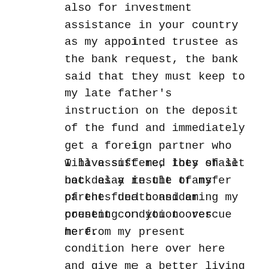also for investment assistance in your country as my appointed trustee as the bank request, the bank said that they must keep to my late father's instruction on the deposit of the fund and immediately get a foreign partner who will assist me, they shall not delay in the transfer of the fund considering my present condition over here.
I have suffered lots of set back as a result of my parents death and am counting on you to rescue me from my present condition here over here and give me a better living over there in your country. At the success of the